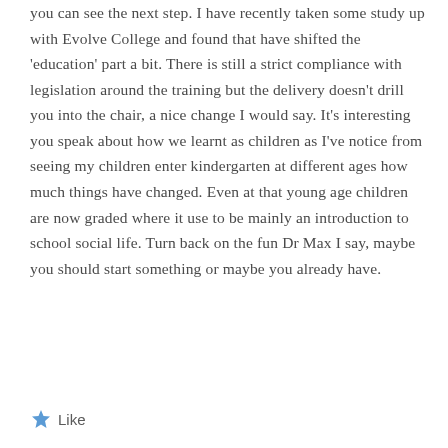you can see the next step. I have recently taken some study up with Evolve College and found that have shifted the 'education' part a bit. There is still a strict compliance with legislation around the training but the delivery doesn't drill you into the chair, a nice change I would say. It's interesting you speak about how we learnt as children as I've notice from seeing my children enter kindergarten at different ages how much things have changed. Even at that young age children are now graded where it use to be mainly an introduction to school social life. Turn back on the fun Dr Max I say, maybe you should start something or maybe you already have.
Like